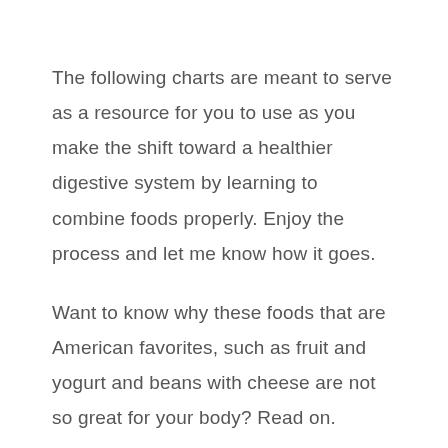The following charts are meant to serve as a resource for you to use as you make the shift toward a healthier digestive system by learning to combine foods properly. Enjoy the process and let me know how it goes.
Want to know why these foods that are American favorites, such as fruit and yogurt and beans with cheese are not so great for your body? Read on.